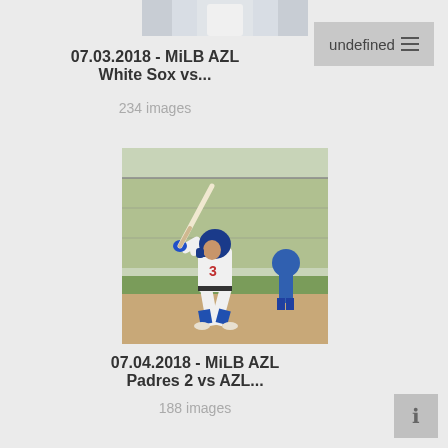[Figure (photo): Partially cropped photo of a baseball player in white uniform, top portion visible]
undefined ≡
07.03.2018 - MiLB AZL White Sox vs...
234 images
[Figure (photo): Baseball player in Dodgers #3 white uniform in batting stance at home plate, outdoor baseball field with fence in background]
07.04.2018 - MiLB AZL Padres 2 vs AZL...
188 images